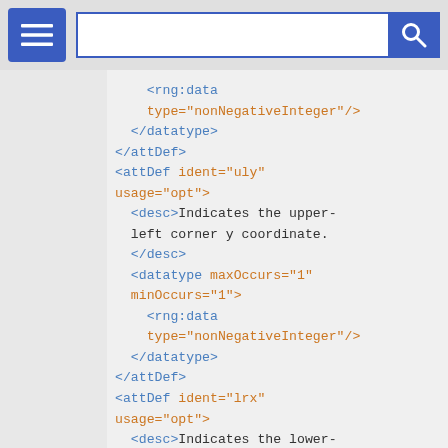Navigation bar with menu and search
<rng:data
    type="nonNegativeInteger"/>
</datatype>
</attDef>
<attDef ident="uly"
usage="opt">
  <desc>Indicates the upper-left corner y coordinate.</desc>
  </desc>
  <datatype maxOccurs="1"
  minOccurs="1">
    <rng:data
    type="nonNegativeInteger"/>
  </datatype>
</attDef>
<attDef ident="lrx"
usage="opt">
  <desc>Indicates the lower-right corner x coordinate.</desc>
  </desc>